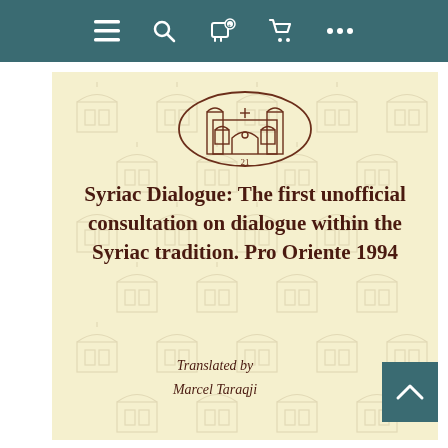[Figure (screenshot): Navigation bar with menu, search, notifications, cart, and more icons on dark teal background]
[Figure (logo): Oval publisher logo showing a church/monastery building with the number 21]
Syriac Dialogue: The first unofficial consultation on dialogue within the Syriac tradition. Pro Oriente 1994
Translated by
Marcel Taraqji